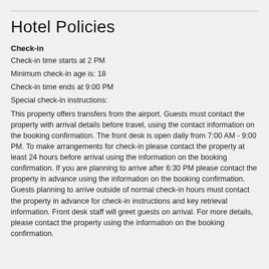Hotel Policies
Check-in
Check-in time starts at 2 PM
Minimum check-in age is: 18
Check-in time ends at 9:00 PM
Special check-in instructions:
This property offers transfers from the airport. Guests must contact the property with arrival details before travel, using the contact information on the booking confirmation. The front desk is open daily from 7:00 AM - 9:00 PM. To make arrangements for check-in please contact the property at least 24 hours before arrival using the information on the booking confirmation. If you are planning to arrive after 6:30 PM please contact the property in advance using the information on the booking confirmation. Guests planning to arrive outside of normal check-in hours must contact the property in advance for check-in instructions and key retrieval information. Front desk staff will greet guests on arrival. For more details, please contact the property using the information on the booking confirmation.